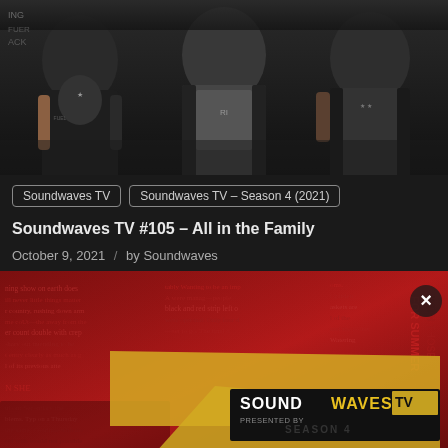[Figure (photo): Band photo showing three musicians wearing rock/metal style clothing including denim jackets and graphic tees, cropped at torso level against a dark background]
Soundwaves TV | Soundwaves TV – Season 4 (2021)
Soundwaves TV #105 – All in the Family
October 9, 2021 / by Soundwaves
[Figure (screenshot): Soundwaves TV Season 4 logo/promotional image on a red and dark background with overlaid text from various articles. The logo shows 'SOUNDWAVES TV' in bold black and white letters with 'SEASON 4' below it on a yellow/gold strip. A close (X) button appears in the upper right corner.]